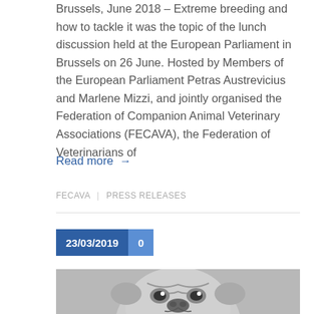Brussels, June 2018 – Extreme breeding and how to tackle it was the topic of the lunch discussion held at the European Parliament in Brussels on 26 June. Hosted by Members of the European Parliament Petras Austrevicius and Marlene Mizzi, and jointly organised the Federation of Companion Animal Veterinary Associations (FECAVA), the Federation of Veterinarians of
Read more →
FECAVA | PRESS RELEASES
23/03/2019  0
[Figure (photo): Black and white close-up photo of a pug dog face looking at the camera]